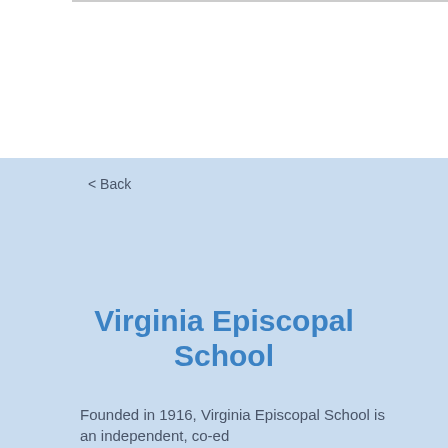< Back
Virginia Episcopal School
Founded in 1916, Virginia Episcopal School is an independent, co-ed